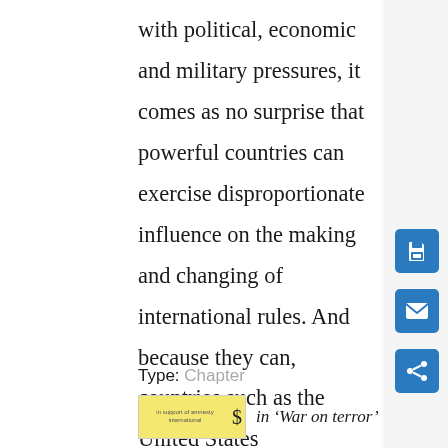with political, economic and military pressures, it comes as no surprise that powerful countries can exercise disproportionate influence on the making and changing of international rules. And because they can, countries such as the United States deliberately seek to modify international law in accordance with their changing interests, for instance, by pushing for a right of self-defence against terrorism or more flexible rules concerning the treatment of detainees. Yet the fact that
Type: Chapter
[Figure (other): Book thumbnail with yellow cover showing Amnesty International logo and text, alongside italic text reading 'in War on terror']